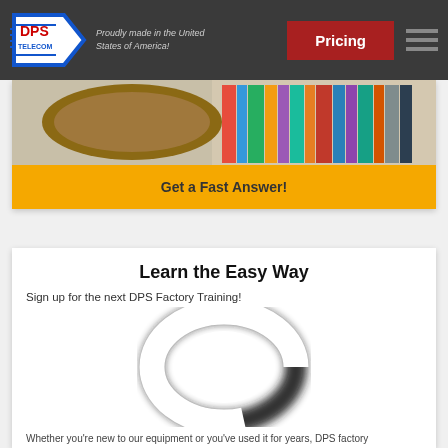[Figure (logo): DPS Telecom logo with blue arrow shield shape and red DPS text]
Proudly made in the United States of America!
Pricing
[Figure (photo): Partial image showing books on a shelf and a hand]
Get a Fast Answer!
Learn the Easy Way
Sign up for the next DPS Factory Training!
[Figure (photo): Blurred circular loading spinner graphic in dark gray/black]
Whether you're new to our equipment or you've used it for years, DPS factory